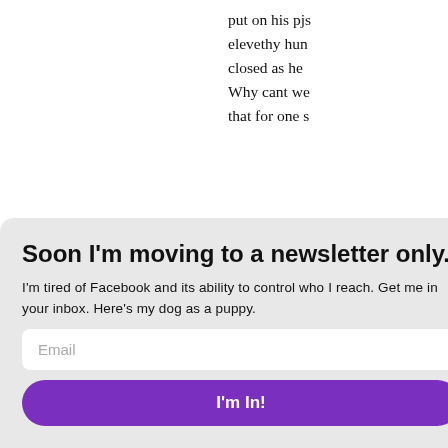put on his pjs elevethy hun closed as he Why cant we that for one s
[Figure (other): Author avatar placeholder with large letter K]
Soon I'm moving to a newsletter only.
I'm tired of Facebook and its ability to control who I reach. Get me in your inbox. Here's my dog as a puppy.
[Figure (photo): Circular photo of a dog named Auggie as a puppy, black and grey mottled coat]
This is my dog, Auggie.